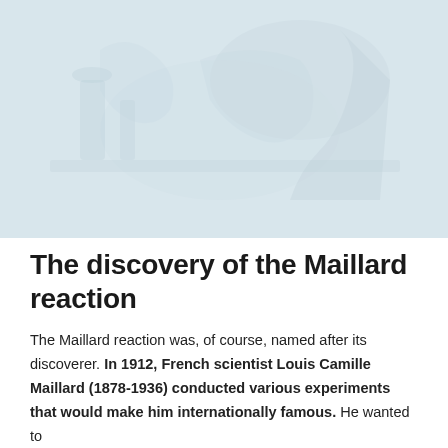[Figure (photo): Faded, light-toned historical photograph showing a person (likely a scientist) in a laboratory setting, with scientific equipment visible. The image has a very pale blue-grey wash.]
The discovery of the Maillard reaction
The Maillard reaction was, of course, named after its discoverer. In 1912, French scientist Louis Camille Maillard (1878-1936) conducted various experiments that would make him internationally famous. He wanted to